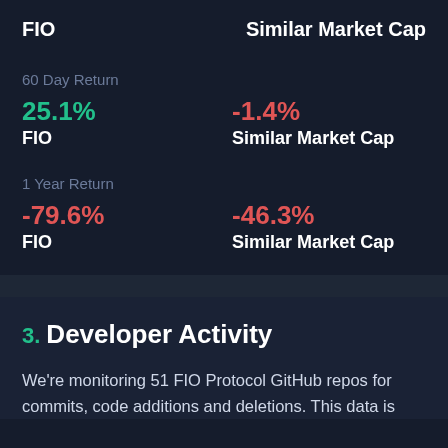FIO | Similar Market Cap
60 Day Return
25.1% FIO | -1.4% Similar Market Cap
1 Year Return
-79.6% FIO | -46.3% Similar Market Cap
3. Developer Activity
We're monitoring 51 FIO Protocol GitHub repos for commits, code additions and deletions. This data is